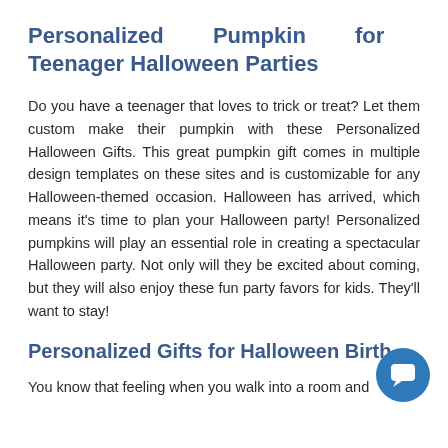Personalized Pumpkin for Teenager Halloween Parties
Do you have a teenager that loves to trick or treat? Let them custom make their pumpkin with these Personalized Halloween Gifts. This great pumpkin gift comes in multiple design templates on these sites and is customizable for any Halloween-themed occasion. Halloween has arrived, which means it's time to plan your Halloween party! Personalized pumpkins will play an essential role in creating a spectacular Halloween party. Not only will they be excited about coming, but they will also enjoy these fun party favors for kids. They'll want to stay!
Personalized Gifts for Halloween Birth
You know that feeling when you walk into a room and